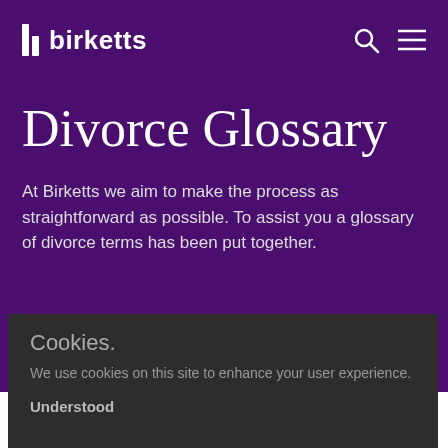birketts
Divorce Glossary
At Birketts we aim to make the process as straightforward as possible. To assist you a glossary of divorce terms has been put together.
Cookies.
We use cookies on this site to enhance your user experience.
Understood